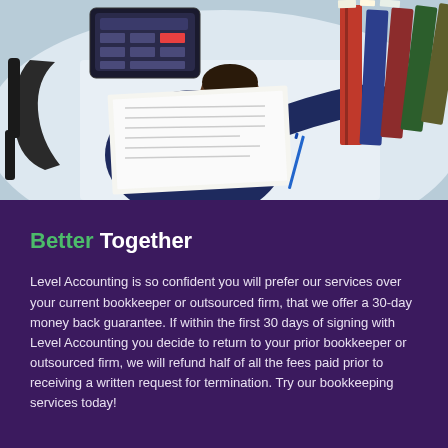[Figure (photo): Overhead/top-down view of a businessman in a dark blue suit seated at a white desk, pointing at documents. A tablet/calculator is visible at top left, and a large stack of binders/folders is visible at the top right.]
Better Together
Level Accounting is so confident you will prefer our services over your current bookkeeper or outsourced firm, that we offer a 30-day money back guarantee. If within the first 30 days of signing with Level Accounting you decide to return to your prior bookkeeper or outsourced firm, we will refund half of all the fees paid prior to receiving a written request for termination. Try our bookkeeping services today!